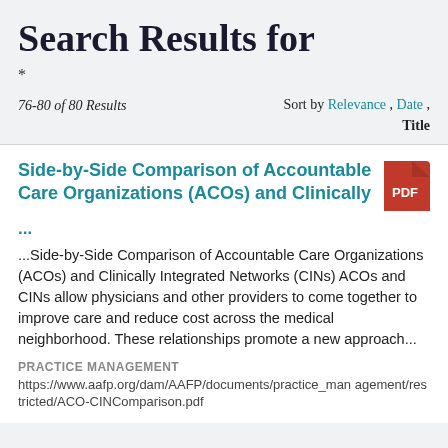Search Results for
*
76-80 of 80 Results    Sort by Relevance , Date , Title
Side-by-Side Comparison of Accountable Care Organizations (ACOs) and Clinically
...
...Side-by-Side Comparison of Accountable Care Organizations (ACOs) and Clinically Integrated Networks (CINs) ACOs and CINs allow physicians and other providers to come together to improve care and reduce cost across the medical neighborhood. These relationships promote a new approach...
PRACTICE MANAGEMENT
https://www.aafp.org/dam/AAFP/documents/practice_management/restricted/ACO-CINComparison.pdf